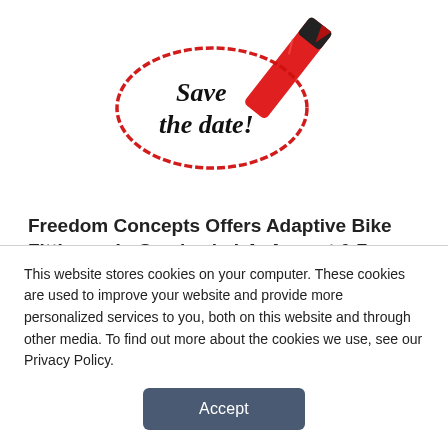[Figure (illustration): Save the date illustration: handwritten 'Save the date!' text in an oval, with a red marker pen touching the oval.]
Freedom Concepts Offers Adaptive Bike Fitting or In-Service in LA, August 6-7
July 29, 2016
This website stores cookies on your computer. These cookies are used to improve your website and provide more personalized services to you, both on this website and through other media. To find out more about the cookies we use, see our Privacy Policy.